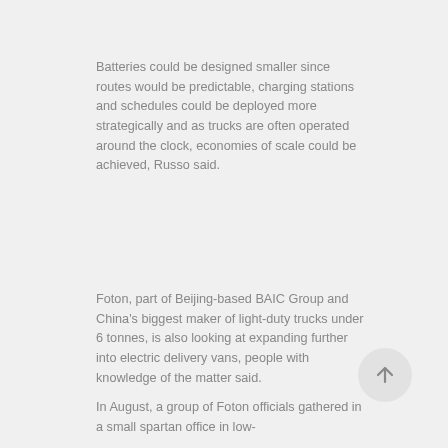Batteries could be designed smaller since routes would be predictable, charging stations and schedules could be deployed more strategically and as trucks are often operated around the clock, economies of scale could be achieved, Russo said.
Foton, part of Beijing-based BAIC Group and China's biggest maker of light-duty trucks under 6 tonnes, is also looking at expanding further into electric delivery vans, people with knowledge of the matter said.
In August, a group of Foton officials gathered in a small spartan office in low-